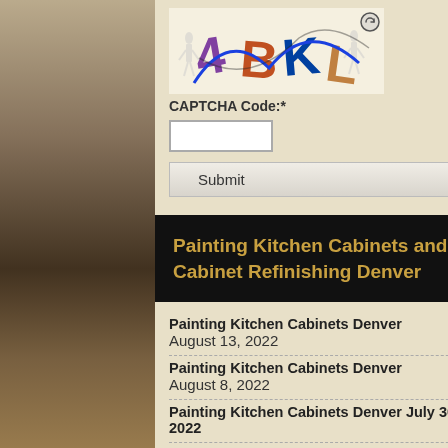[Figure (screenshot): CAPTCHA image showing stylized text '4BKL' with colorful letters and silhouette figures in background, with a refresh icon]
CAPTCHA Code:*
[Figure (screenshot): Empty text input field for CAPTCHA code]
Submit
Painting Kitchen Cabinets and Cabinet Refinishing Denver
Painting Kitchen Cabinets Denver August 13, 2022
Painting Kitchen Cabinets Denver August 8, 2022
Painting Kitchen Cabinets Denver July 30, 2022
Painting Kitchen Cabinets Denver n